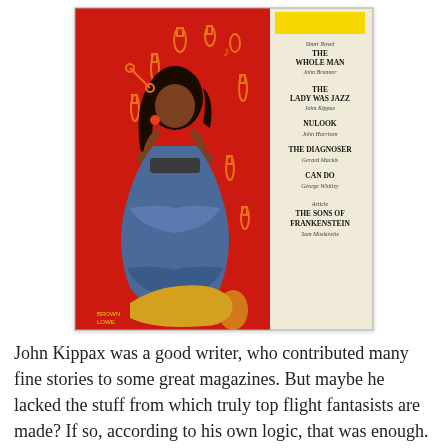[Figure (photo): A vintage science fiction magazine cover (likely New Worlds or similar) featuring a woman in colorful clothing on a red background with bottle silhouettes, and a yellow panel on the right listing story titles: Short Novel THE WHOLE MAN John Brunner, THE LADY WAS JAZZ John Kippax, NULOOK John Harrison, THE DIAGNOSER Gerard Mackis, CAN DO George Whitley, Article THE SONS OF FRANKENSTEIN Sam Moskowitz]
John Kippax was a good writer, who contributed many fine stories to some great magazines. But maybe he lacked the stuff from which truly top flight fantasists are made? If so, according to his own logic, that was enough.